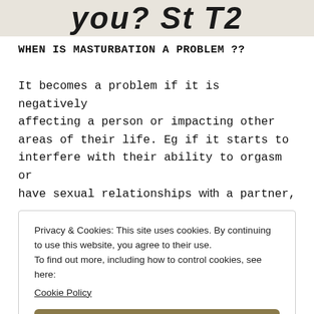[Figure (illustration): Partial handwritten or stylized text visible at top of page reading 'you? St T2' in large bold strokes on a light background]
WHEN IS MASTURBATION A PROBLEM ??
It becomes a problem if it is negatively affecting a person or impacting other areas of their life. Eg if it starts to interfere with their ability to orgasm or have sexual relationships with a partner,
Privacy & Cookies: This site uses cookies. By continuing to use this website, you agree to their use.
To find out more, including how to control cookies, see here:
Cookie Policy

Close and accept